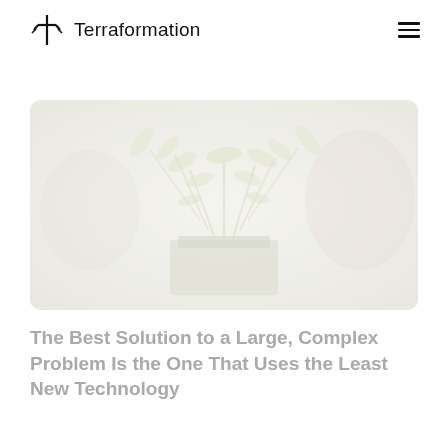Terraformation
[Figure (photo): Faded/washed-out photo of leafy green plants in a dark planter box, with soft natural light background]
The Best Solution to a Large, Complex Problem Is the One That Uses the Least New Technology